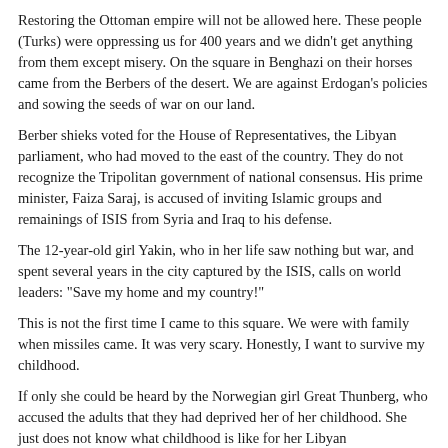Restoring the Ottoman empire will not be allowed here. These people (Turks) were oppressing us for 400 years and we didn't get anything from them except misery. On the square in Benghazi on their horses came from the Berbers of the desert. We are against Erdogan's policies and sowing the seeds of war on our land.
Berber shieks voted for the House of Representatives, the Libyan parliament, who had moved to the east of the country. They do not recognize the Tripolitan government of national consensus. His prime minister, Faiza Saraj, is accused of inviting Islamic groups and remainings of ISIS from Syria and Iraq to his defense.
The 12-year-old girl Yakin, who in her life saw nothing but war, and spent several years in the city captured by the ISIS, calls on world leaders: "Save my home and my country!"
This is not the first time I came to this square. We were with family when missiles came. It was very scary. Honestly, I want to survive my childhood.
If only she could be heard by the Norwegian girl Great Thunberg, who accused the adults that they had deprived her of her childhood. She just does not know what childhood is like for her Libyan contemporaries.